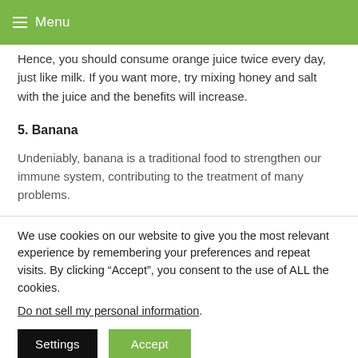Menu
Hence, you should consume orange juice twice every day, just like milk. If you want more, try mixing honey and salt with the juice and the benefits will increase.
5. Banana
Undeniably, banana is a traditional food to strengthen our immune system, contributing to the treatment of many problems.
We use cookies on our website to give you the most relevant experience by remembering your preferences and repeat visits. By clicking “Accept”, you consent to the use of ALL the cookies.
Do not sell my personal information.
Settings   Accept